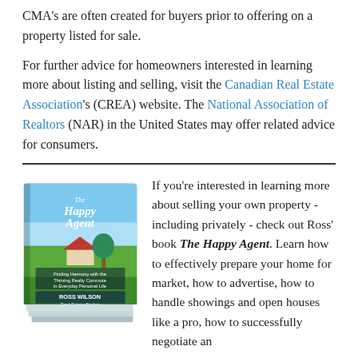CMA's are often created for buyers prior to offering on a property listed for sale.
For further advice for homeowners interested in learning more about listing and selling, visit the Canadian Real Estate Association's (CREA) website. The National Association of Realtors (NAR) in the United States may offer related advice for consumers.
[Figure (photo): Stack of books titled 'The Happy Agent' by Ross Wilson, Real Estate Broker]
If you're interested in learning more about selling your own property - including privately - check out Ross' book The Happy Agent. Learn how to effectively prepare your home for market, how to advertise, how to handle showings and open houses like a pro, how to successfully negotiate an offer, and when it's time to throw in the towel and hire a